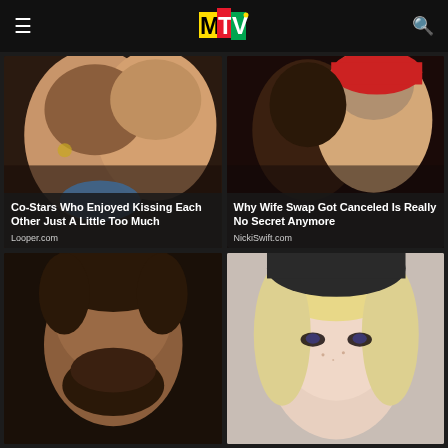MTV
[Figure (photo): Two people kissing close-up photo]
Co-Stars Who Enjoyed Kissing Each Other Just A Little Too Much
Looper.com
[Figure (photo): Two people kissing close-up photo with woman in red hat]
Why Wife Swap Got Canceled Is Really No Secret Anymore
NickiSwift.com
[Figure (photo): Dark-haired bearded man close-up portrait]
[Figure (photo): Blonde woman close-up portrait with dark hat]